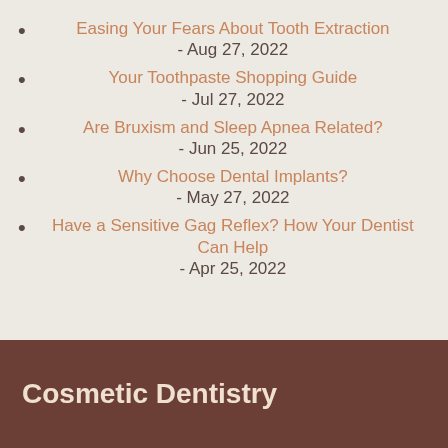Easing Your Fears About Tooth Extraction - Aug 27, 2022
Your Toothpaste Shopping Guide - Jul 27, 2022
Are Bruxism and Sleep Apnea Related? - Jun 25, 2022
Why Choose Dental Implants? - May 27, 2022
Have a Sensitive Gag Reflex? How Your Dentist Can Help - Apr 25, 2022
Cosmetic Dentistry